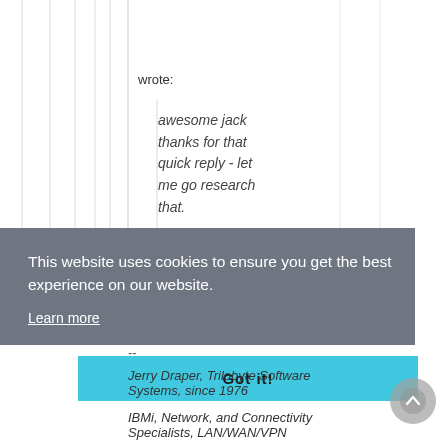wrote:
awesome jack thanks for that quick reply - let me go research that.
This website uses cookies to ensure you get the best experience on our website.
Learn more
--
Jerry Draper, Trilobyte Software Systems, since 1976
IBMi, Network, and Connectivity Specialists, LAN/WAN/VPN